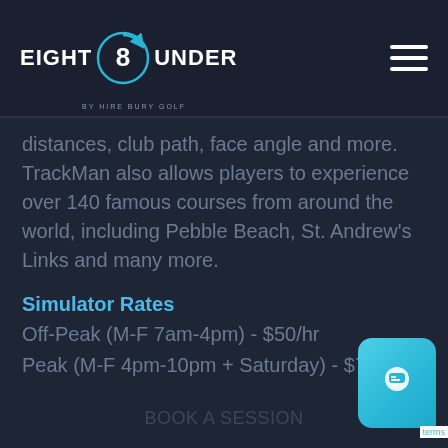[Figure (logo): Eight Under golf logo with circular '8' icon and 'BY HIRE BURY GOLF' subtitle, plus hamburger menu icon on right]
distances, club path, face angle and more. TrackMan also allows players to experience over 140 famous courses from around the world, including Pebble Beach, St. Andrew's Links and many more.
Simulator Rates
Off-Peak (M-F 7am-4pm) - $50/hr
Peak (M-F 4pm-10pm + Saturday) - $75/hr